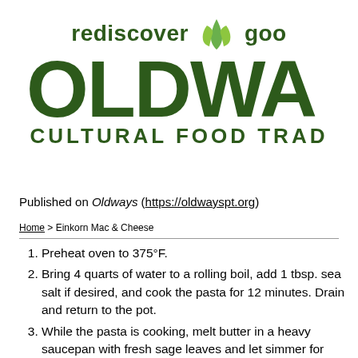[Figure (logo): Oldways Cultural Food Traditions logo with green text 'rediscover good' tagline, large green OLDWAYS text, and CULTURAL FOOD TRADITIONS subtitle]
Published on Oldways (https://oldwayspt.org)
Home > Einkorn Mac & Cheese
Preheat oven to 375°F.
Bring 4 quarts of water to a rolling boil, add 1 tbsp. sea salt if desired, and cook the pasta for 12 minutes. Drain and return to the pot.
While the pasta is cooking, melt butter in a heavy saucepan with fresh sage leaves and let simmer for...